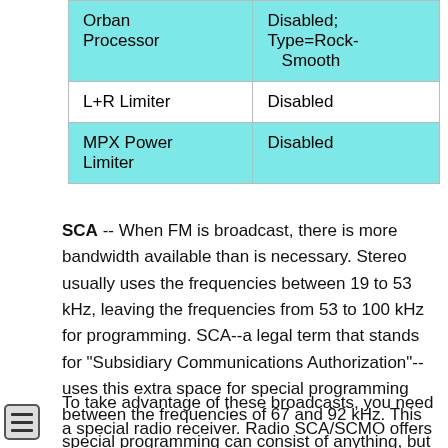| Feature | Setting |
| --- | --- |
| Orban Processor | Disabled; Type=Rock-Smooth |
| L+R Limiter | Disabled |
| MPX Power Limiter | Disabled |
SCA -- When FM is broadcast, there is more bandwidth available than is necessary. Stereo usually uses the frequencies between 19 to 53 kHz, leaving the frequencies from 53 to 100 kHz for programming. SCA--a legal term that stands for "Subsidiary Communications Authorization"--uses this extra space for special programming between the frequencies of 67 and 92 kHz. This special programming can consist of anything, but it usually takes the form of readings for the blind, multicultural radio, or other things like that.
To take advantage of these broadcasts, you need a special radio receiver. Radio SCA/SCMO offers you SCA/SCMO/AM/FM...